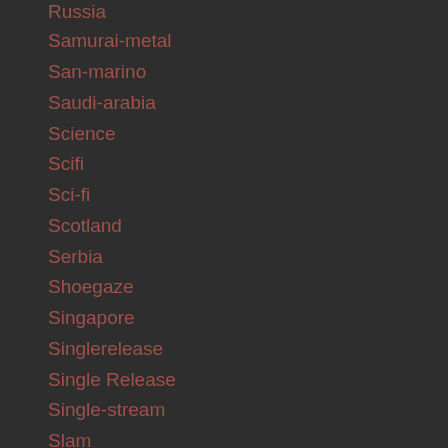Russia
Samurai-metal
San-marino
Saudi-arabia
Science
Scifi
Sci-fi
Scotland
Serbia
Shoegaze
Singapore
Singlerelease
Single Release
Single-stream
Slam
Slavic-metal
Sleaze-metal
Slovakia
Slovenia
Sludge Metal
Solo